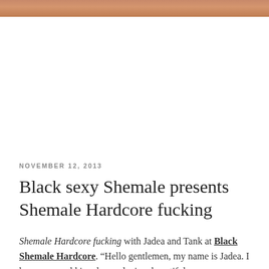[Figure (photo): Partial photograph strip at top of page showing warm skin tones]
NOVEMBER 12, 2013
Black sexy Shemale presents Shemale Hardcore fucking
Shemale Hardcore fucking with Jadea and Tank at Black Shemale Hardcore. “Hello gentlemen, my name is Jadea. I have a carmel kissed complexion, beautiful